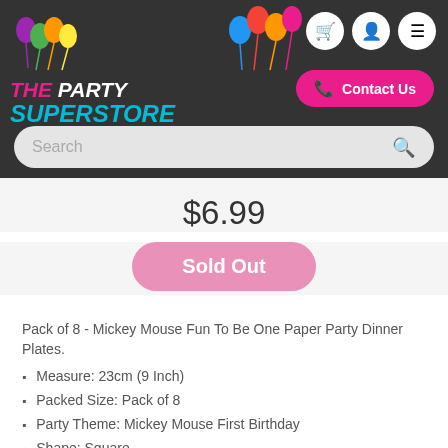[Figure (logo): The Party Superstore logo with colorful balloons on left and right, dark background header with search bar and navigation icons]
$6.99
Sold Out
Pack of 8 - Mickey Mouse Fun To Be One Paper Party Dinner Plates.
Measure: 23cm (9 Inch)
Packed Size: Pack of 8
Party Theme: Mickey Mouse First Birthday
Shape: Square
Ideal for Mickey Mouse 1st Birthday Themed